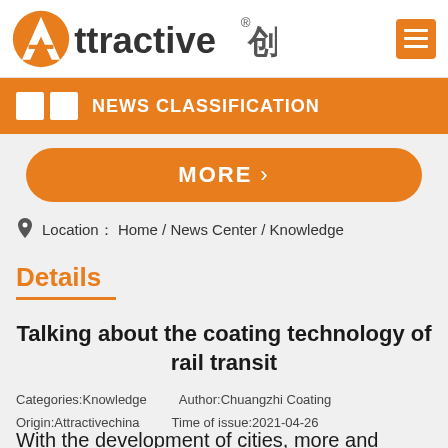[Figure (logo): Attractive 创智 company logo with orange A icon and menu button]
NEWS CLASSIFICATION
MORE >
Location： Home / News Center / Knowledge
Details
Talking about the coating technology of rail transit
Categories:Knowledge    Author:Chuangzhi Coating
Origin:Attractivechina    Time of issue:2021-04-26
With the development of cities, more and